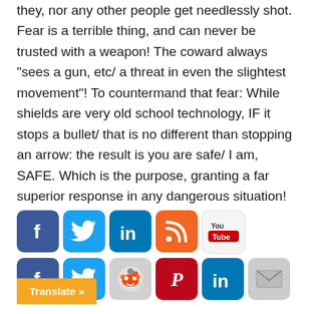they, nor any other people get needlessly shot. Fear is a terrible thing, and can never be trusted with a weapon! The coward always "sees a gun, etc/ a threat in even the slightest movement"! To countermand that fear: While shields are very old school technology, IF it stops a bullet/ that is no different than stopping an arrow: the result is you are safe/ I am, SAFE. Which is the purpose, granting a far superior response in any dangerous situation!
[Figure (infographic): Two rows of social media share icons: Facebook, Twitter, LinkedIn, RSS, YouTube in top row; Facebook, Twitter, Reddit, Pinterest, LinkedIn, Email in bottom row. An orange 'Translate »' button overlays bottom-left.]